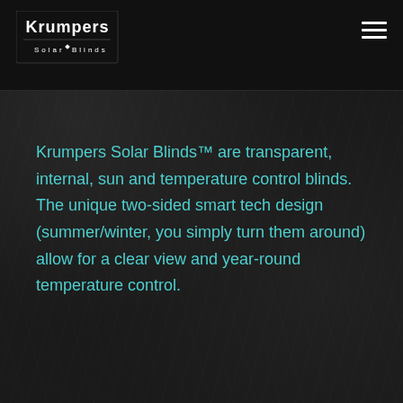[Figure (logo): Krumpers Solar Blinds logo — white text on dark background, top-left corner]
Krumpers Solar Blinds™ are transparent, internal, sun and temperature control blinds. The unique two-sided smart tech design (summer/winter, you simply turn them around) allow for a clear view and year-round temperature control.